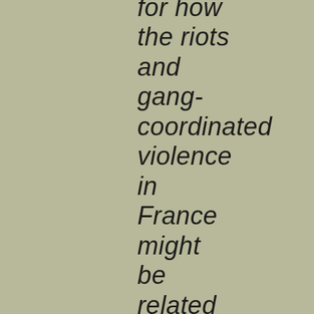for how the riots and gang-coordinated violence in France might be related to Islam.

Correlation, despite our desire for an orderly and